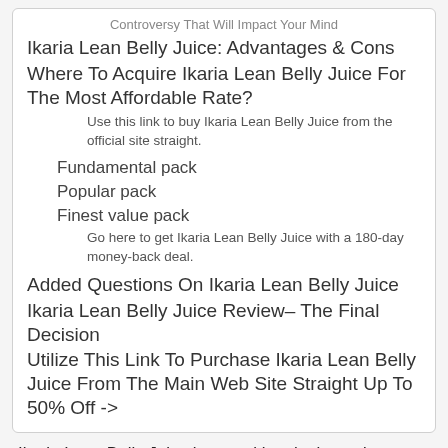Controversy That Will Impact Your Mind
Ikaria Lean Belly Juice: Advantages & Cons
Where To Acquire Ikaria Lean Belly Juice For The Most Affordable Rate?
Use this link to buy Ikaria Lean Belly Juice from the official site straight.
Fundamental pack
Popular pack
Finest value pack
Go here to get Ikaria Lean Belly Juice with a 180-day money-back deal.
Added Questions On Ikaria Lean Belly Juice
Ikaria Lean Belly Juice Review– The Final Decision
Utilize This Link To Purchase Ikaria Lean Belly Juice From The Main Web Site Straight Up To 50% Off ->
Ikaria Lean Belly Juice is a nutritional mix made